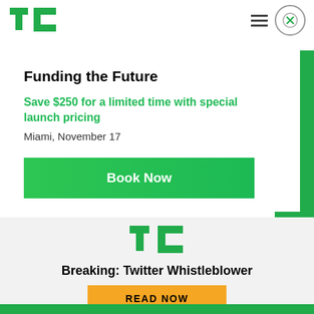[Figure (logo): TechCrunch TC logo in green, top left navigation bar]
[Figure (other): Hamburger menu icon (three horizontal lines) in top right nav]
[Figure (other): Close button circle with X icon in top right nav]
Funding the Future
Save $250 for a limited time with special launch pricing
Miami, November 17
Book Now
[Figure (logo): TechCrunch TC logo in green, mid section]
Breaking: Twitter Whistleblower
READ NOW